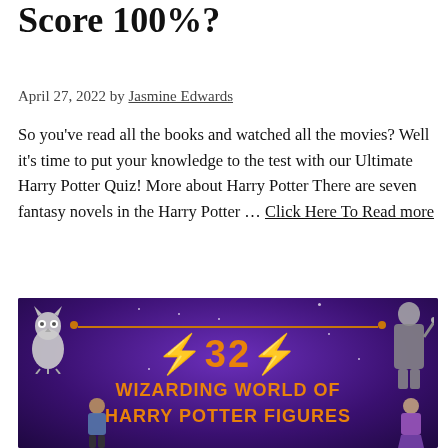Score 100%?
April 27, 2022 by Jasmine Edwards
So you've read all the books and watched all the movies? Well it's time to put your knowledge to the test with our Ultimate Harry Potter Quiz! More about Harry Potter There are seven fantasy novels in the Harry Potter … Click Here To Read more
[Figure (illustration): Purple banner graphic with orange text showing '⚡32⚡ WIZARDING WORLD OF HARRY POTTER FIGURES' with decorative lightning bolts, orange line, and Harry Potter character figures including an owl on the left, Voldemort on the right, and children characters at the bottom.]